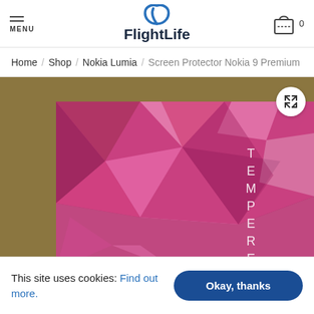MENU | FlightLife | Cart 0
Home / Shop / Nokia Lumia / Screen Protector Nokia 9 Premium
[Figure (photo): Product photo of a tempered glass screen protector packaging with pink geometric/crystal pattern design and the word TEMPERE visible vertically in white text, on tan/brown background]
This site uses cookies: Find out more.
Okay, thanks